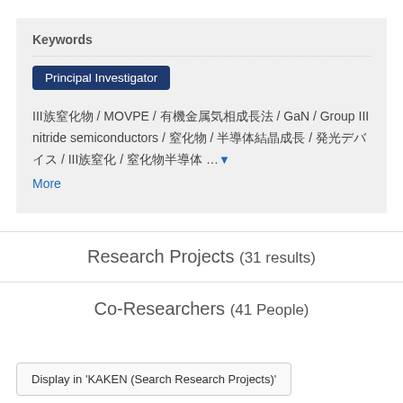Keywords
Principal Investigator
III族窒化物 / MOVPE / 有機金属気相成長法 / GaN / Group III nitride semiconductors / 窒化物 / 半導体結晶成長 / 発光デバイス / III族窒化 / 窒化物半導体 ... More
Research Projects (31 results)
Co-Researchers (41 People)
Display in 'KAKEN (Search Research Projects)'